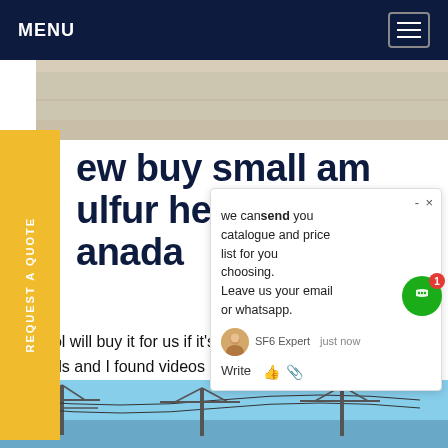MENU
[Figure (photo): Partial view of a floor or pavement surface, beige/stone colored, top portion of page below nav]
ew buy small am
ulfur hexafluoride
anada
ool will buy it for us if it’s cheap a... nds and I found videos of people messing around n sulfur hexafluoride, and thought it would be a fun no, but we’re having trouble finding it online. ere can we find insulating gas online, and how much canGet price
[Figure (screenshot): Chat popup showing: we can send you catalogue and price list for you choosing. Leave us your email or whatsapp. SF6 Expert | just now | Write (with thumbs up and paperclip icons). Green chat bubble button with red badge showing 1.]
[Figure (photo): Bottom strip showing power line towers against a blue sky]
REQUEST A QUOTE